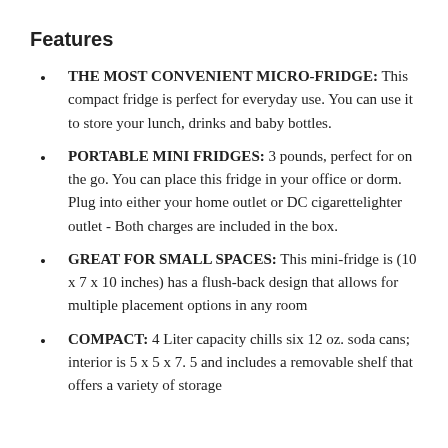Features
THE MOST CONVENIENT MICRO-FRIDGE: This compact fridge is perfect for everyday use. You can use it to store your lunch, drinks and baby bottles.
PORTABLE MINI FRIDGES: 3 pounds, perfect for on the go. You can place this fridge in your office or dorm. Plug into either your home outlet or DC cigarettelighter outlet - Both charges are included in the box.
GREAT FOR SMALL SPACES: This mini-fridge is (10 x 7 x 10 inches) has a flush-back design that allows for multiple placement options in any room
COMPACT: 4 Liter capacity chills six 12 oz. soda cans; interior is 5 x 5 x 7. 5 and includes a removable shelf that offers a variety of storage